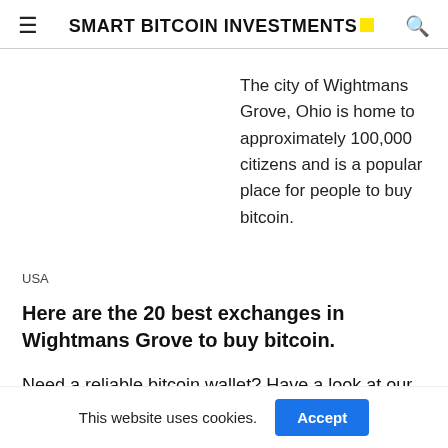SMART BITCOIN INVESTMENTS
The city of Wightmans Grove, Ohio is home to approximately 100,000 citizens and is a popular place for people to buy bitcoin.
USA
Here are the 20 best exchanges in Wightmans Grove to buy bitcoin.
Need a reliable bitcoin wallet? Have a look at our wallets page.
This website uses cookies.